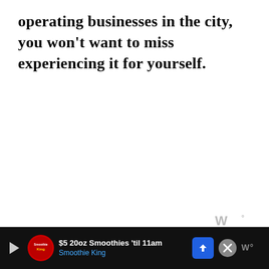operating businesses in the city, you won't want to miss experiencing it for yourself.
[Figure (other): Weather widget icon showing stylized 'W' with degree symbol, gray color]
The market is open all year round on Fridays from
[Figure (other): Advertisement banner for Smoothie King: '$5 20oz Smoothies 'til 11am' with Smoothie King branding, navigation arrow icon, and close button]